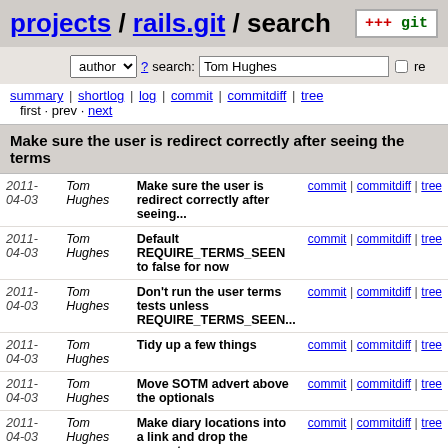projects / rails.git / search
author ? search: Tom Hughes re
summary | shortlog | log | commit | commitdiff | tree
first · prev · next
Make sure the user is redirect correctly after seeing the terms
| Date | Author | Message | Links |
| --- | --- | --- | --- |
| 2011-04-03 | Tom Hughes | Make sure the user is redirect correctly after seeing... | commit | commitdiff | tree |
| 2011-04-03 | Tom Hughes | Default REQUIRE_TERMS_SEEN to false for now | commit | commitdiff | tree |
| 2011-04-03 | Tom Hughes | Don't run the user terms tests unless REQUIRE_TERMS_SEEN... | commit | commitdiff | tree |
| 2011-04-03 | Tom Hughes | Tidy up a few things | commit | commitdiff | tree |
| 2011-04-03 | Tom Hughes | Move SOTM advert above the optionals | commit | commitdiff | tree |
| 2011-04-03 | Tom Hughes | Make diary locations into a link and drop the separate... | commit | commitdiff | tree |
| 2011-04-02 | Tom Hughes | Add a marker to the edit tab to indicate that it has... | commit | commitdiff | tree |
| 2011-04-01 | Tom Hughes | Rebuild OpenLayers with patch for OpenLayers ticket... | commit | commitdiff | tree |
| 2011-04-01 | Tom Hughes | Update Potlatch 2 to 0.5-295-... | commit | commitdiff |